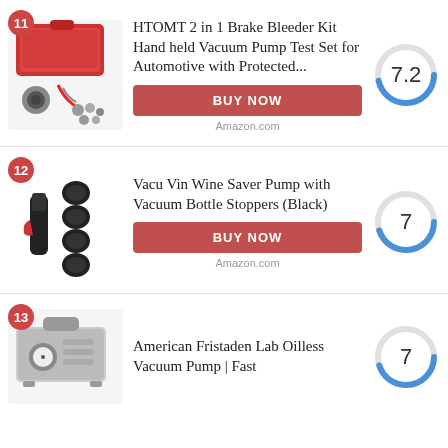11. HTOMT 2 in 1 Brake Bleeder Kit Hand held Vacuum Pump Test Set for Automotive with Protected...
12. Vacu Vin Wine Saver Pump with Vacuum Bottle Stoppers (Black)
13. American Fristaden Lab Oilless Vacuum Pump | Fast